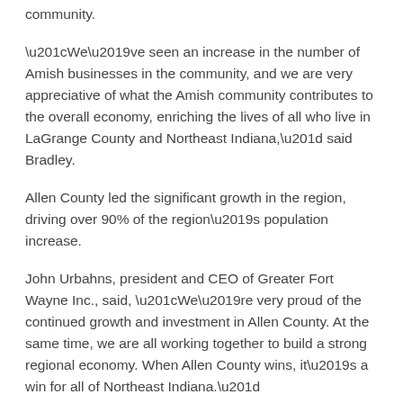community.
“We’ve seen an increase in the number of Amish businesses in the community, and we are very appreciative of what the Amish community contributes to the overall economy, enriching the lives of all who live in LaGrange County and Northeast Indiana,” said Bradley.
Allen County led the significant growth in the region, driving over 90% of the region’s population increase.
John Urbahns, president and CEO of Greater Fort Wayne Inc., said, “We’re very proud of the continued growth and investment in Allen County. At the same time, we are all working together to build a strong regional economy. When Allen County wins, it’s a win for all of Northeast Indiana.”
U.S. Census Bureau releases population data annually, and Development Counsellors International (DCI) calculated the regional data.